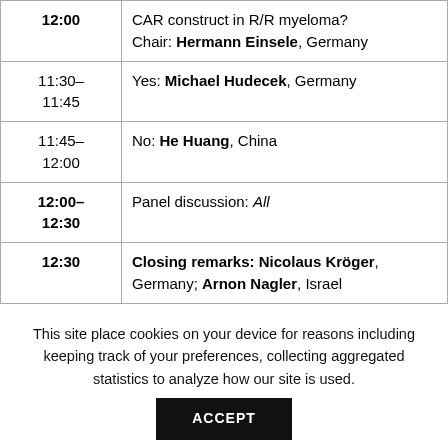| Time | Session |
| --- | --- |
| 12:00 | CAR construct in R/R myeloma?
Chair: Hermann Einsele, Germany |
| 11:30–
11:45 | Yes: Michael Hudecek, Germany |
| 11:45–
12:00 | No: He Huang, China |
| 12:00–
12:30 | Panel discussion: All |
| 12:30 | Closing remarks: Nicolaus Kröger, Germany; Arnon Nagler, Israel |
This site place cookies on your device for reasons including keeping track of your preferences, collecting aggregated statistics to analyze how our site is used.